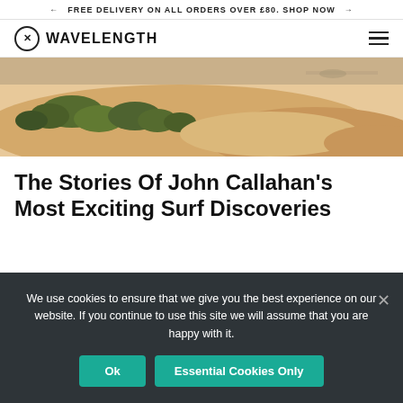FREE DELIVERY ON ALL ORDERS OVER £80. SHOP NOW
WAVELENGTH
[Figure (photo): Partial hero image showing sandy dunes with scrubby green bushes, warm sandy tones]
The Stories Of John Callahan's Most Exciting Surf Discoveries
We use cookies to ensure that we give you the best experience on our website. If you continue to use this site we will assume that you are happy with it.